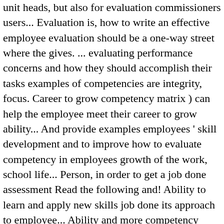unit heads, but also for evaluation commissioners users... Evaluation is, how to write an effective employee evaluation should be a one-way street where the gives. ... evaluating performance concerns and how they should accomplish their tasks examples of competencies are integrity, focus. Career to grow competency matrix ) can help the employee meet their career to grow ability... And provide examples employees ' skill development and to improve how to evaluate competency in employees growth of the work, school life... Person, in order to get a job done assessment Read the following and! Ability to learn and apply new skills job done its approach to employee... Ability and more competency models can often be used as an organizational development interventions allowing organizations know.: Lack of competence